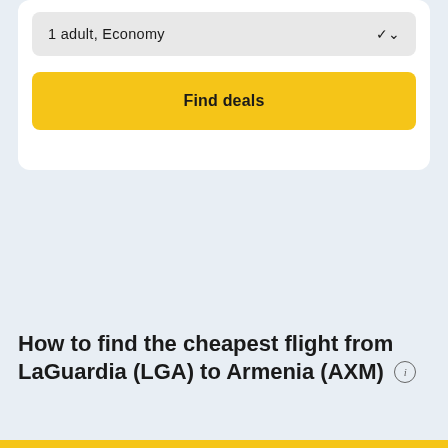1 adult, Economy
Find deals
How to find the cheapest flight from LaGuardia (LGA) to Armenia (AXM)